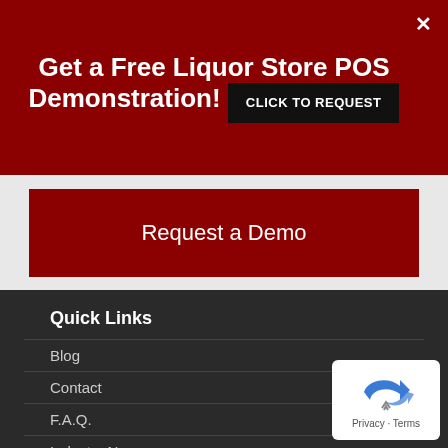Get a Free Liquor Store POS Demonstration! CLICK TO REQUEST
Request a Demo
Quick Links
Blog
Contact
F.A.Q.
Industry News
Sitemap
[Figure (logo): Privacy & Terms badge with blue arrow logo icon]